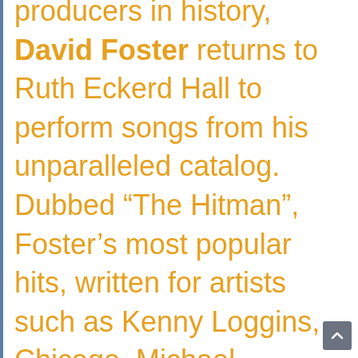producers in history, David Foster returns to Ruth Eckerd Hall to perform songs from his unparalleled catalog. Dubbed “The Hitman”, Foster’s most popular hits, written for artists such as Kenny Loggins, Chicago, Michael Bublé, Josh Groban